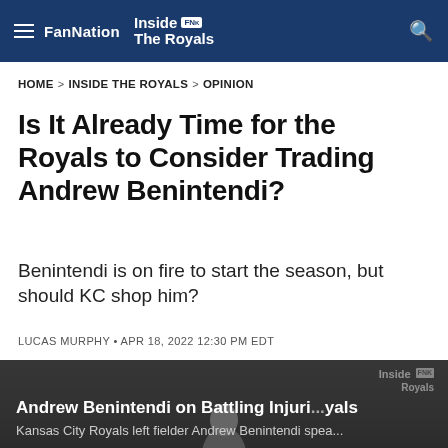FanNation Inside The Royals
HOME > INSIDE THE ROYALS > OPINION
Is It Already Time for the Royals to Consider Trading Andrew Benintendi?
Benintendi is on fire to start the season, but should KC shop him?
LUCAS MURPHY • APR 18, 2022 12:30 PM EDT
[Figure (photo): Dark panel showing partial image of Andrew Benintendi with overlay text 'Andrew Benintendi on Battling Injuri...' and caption 'Kansas City Royals left fielder Andrew Benintendi spea...' with Inside The Royals watermark]